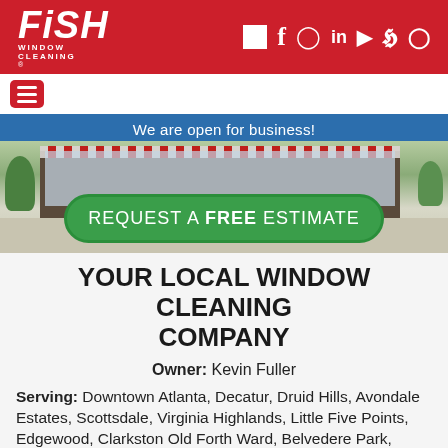[Figure (logo): Fish Window Cleaning logo in white on red background, with social media icons (Google, Facebook, Instagram, LinkedIn, YouTube, Twitter, Pinterest)]
[Figure (screenshot): Navigation bar with hamburger menu button]
We are open for business!
[Figure (photo): Aerial view of a commercial strip mall storefront with trees and sidewalk, with a green REQUEST A FREE ESTIMATE button overlay]
YOUR LOCAL WINDOW CLEANING COMPANY
Owner: Kevin Fuller
Serving: Downtown Atlanta, Decatur, Druid Hills, Avondale Estates, Scottsdale, Virginia Highlands, Little Five Points, Edgewood, Clarkston Old Forth Ward, Belvedere Park, Candler and McAffe, GA